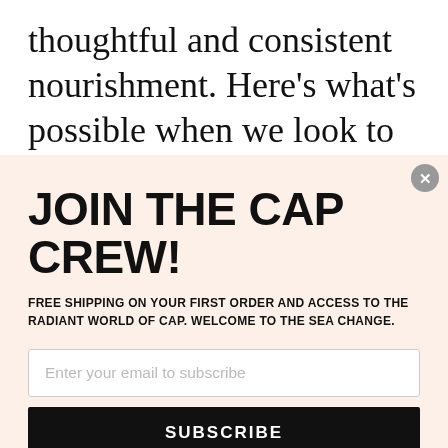thoughtful and consistent nourishment. Here's what's possible when we look to solutions that serve the whole. Read on into discover her latest wellness obsession and her take on a south Indian vegetable stew...
[Figure (screenshot): Email subscription modal with peach/salmon background. Contains 'JOIN THE CAP CREW!' heading, subtitle about free shipping, email input field, and Subscribe button.]
JOIN THE CAP CREW!
FREE SHIPPING ON YOUR FIRST ORDER AND ACCESS TO THE RADIANT WORLD OF CAP. WELCOME TO THE SEA CHANGE.
Enter your email to subscribe
SUBSCRIBE